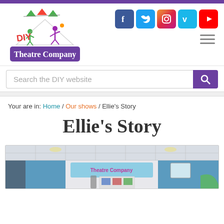[Figure (logo): DIY Theatre Company logo with colorful figures and bunting]
[Figure (infographic): Social media icons: Facebook, Twitter, Instagram, Vimeo, YouTube]
Search the DIY website
Your are in: Home / Our shows / Ellie's Story
Ellie's Story
[Figure (photo): Indoor venue with blue walls showing DIY Theatre Company banner and displays, people visible in background]